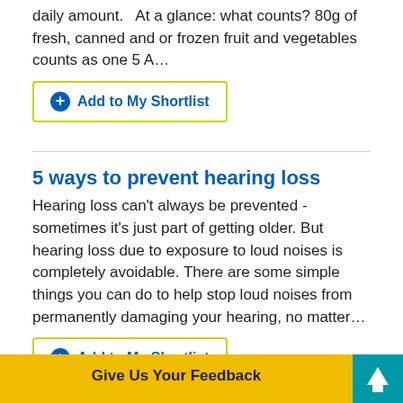daily amount.   At a glance: what counts? 80g of fresh, canned and or frozen fruit and vegetables counts as one 5 A…
Add to My Shortlist
5 ways to prevent hearing loss
Hearing loss can't always be prevented - sometimes it's just part of getting older. But hearing loss due to exposure to loud noises is completely avoidable. There are some simple things you can do to help stop loud noises from permanently damaging your hearing, no matter…
Add to My Shortlist
5 ways to stop snoring
Snoring is often linked to lifestyle, and there are some simple changes you can make to help prevent it. Try these five self-help tips: Maintain a healthy weight and diet. Being overweight by just a few kilo…